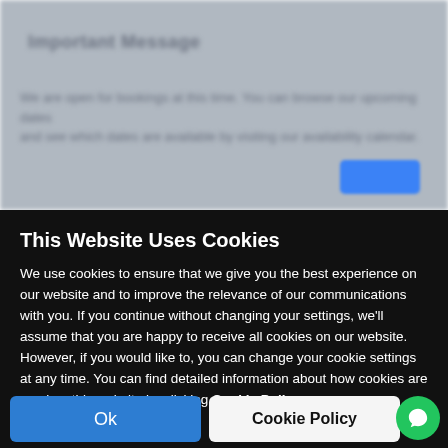[Figure (screenshot): Blurred background showing a webpage with a title, body text, and a blue button, partially visible behind the cookie consent banner.]
This Website Uses Cookies
We use cookies to ensure that we give you the best experience on our website and to improve the relevance of our communications with you. If you continue without changing your settings, we'll assume that you are happy to receive all cookies on our website. However, if you would like to, you can change your cookie settings at any time. You can find detailed information about how cookies are used on this website by clicking Cookie Policy.
Ok
Cookie Policy